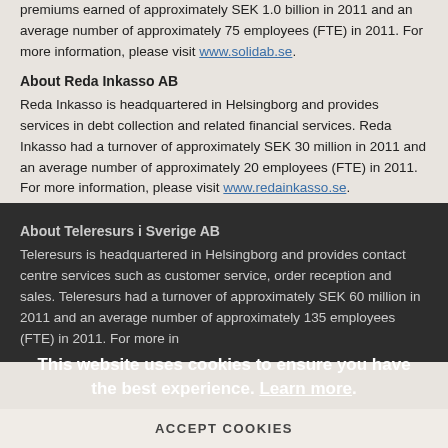premiums earned of approximately SEK 1.0 billion in 2011 and an average number of approximately 75 employees (FTE) in 2011. For more information, please visit www.solidab.se.
About Reda Inkasso AB
Reda Inkasso is headquartered in Helsingborg and provides services in debt collection and related financial services. Reda Inkasso had a turnover of approximately SEK 30 million in 2011 and an average number of approximately 20 employees (FTE) in 2011. For more information, please visit www.redainkasso.se.
About Teleresurs i Sverige AB
Teleresurs is headquartered in Helsingborg and provides contact centre services such as customer service, order reception and sales. Teleresurs had a turnover of approximately SEK 60 million in 2011 and an average number of approximately 135 employees (FTE) in 2011. For more information, please visit
This website uses cookies to ensure you have the best experience. Learn more.
ACCEPT COOKIES